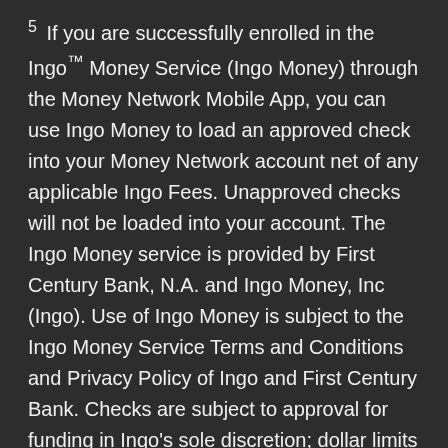5  If you are successfully enrolled in the Ingo™ Money Service (Ingo Money) through the Money Network Mobile App, you can use Ingo Money to load an approved check into your Money Network account net of any applicable Ingo Fees. Unapproved checks will not be loaded into your account. The Ingo Money service is provided by First Century Bank, N.A. and Ingo Money, Inc (Ingo). Use of Ingo Money is subject to the Ingo Money Service Terms and Conditions and Privacy Policy of Ingo and First Century Bank. Checks are subject to approval for funding in Ingo's sole discretion; dollar limits and other restrictions apply. Ingo reserves the right to recover losses resulting from illegal or fraudulent use of Ingo Money. Money in Minutes: Ingo Fees are 1% of approved check amount for preprinted payroll & government checks; 4% of approved check